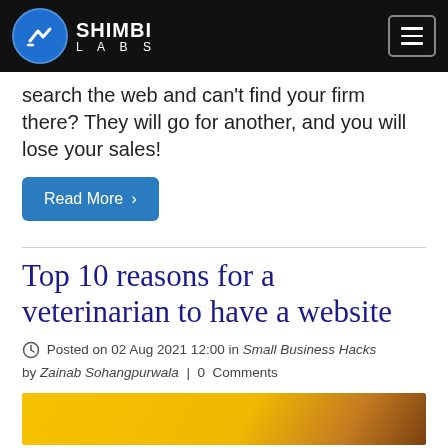SHIMBI LABS
search the web and can't find your firm there? They will go for another, and you will lose your sales!
Read More ›
Top 10 reasons for a veterinarian to have a website
Posted on 02 Aug 2021 12:00 in Small Business Hacks by Zainab Sohangpurwala | 0 Comments
[Figure (photo): Partial image at bottom of page showing a yellow background with a partial view of an animal or object]